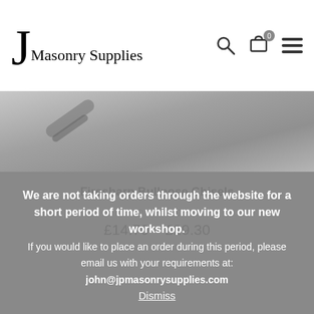JP Masonry Supplies
[Figure (photo): Close-up grayscale photo of a masonry chisel tool]
Firesharp Bullnose Chisels
NOT RATED
£14.70 – £29.30
We are not taking orders through the website for a short period of time, whilst moving to our new workshop. If you would like to place an order during this period, please email us with your requirements at: john@jpmasonrysupplies.com
Dismiss